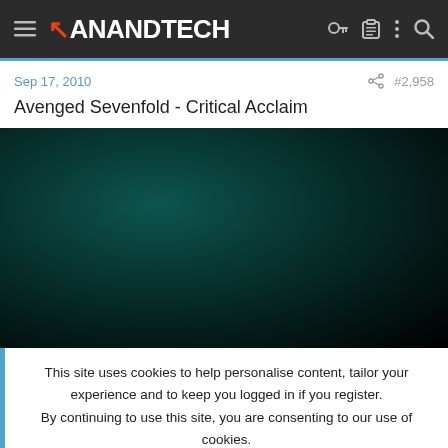AnandTech
Sep 17, 2010   #2,958
Avenged Sevenfold - Critical Acclaim
[Figure (other): Embedded video player with dark teal/black gradient background]
This site uses cookies to help personalise content, tailor your experience and to keep you logged in if you register. By continuing to use this site, you are consenting to our use of cookies.